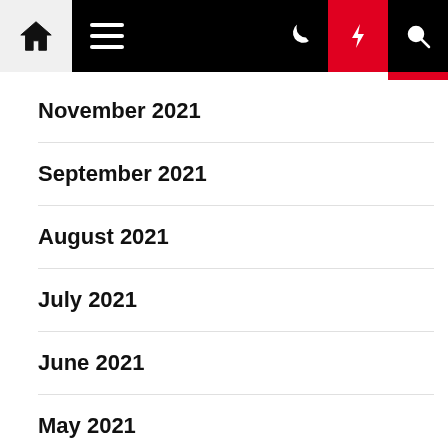[Figure (screenshot): Website navigation bar with home icon, hamburger menu, moon icon, lightning bolt icon (active, red background), and search icon]
November 2021
September 2021
August 2021
July 2021
June 2021
May 2021
April 2021
March 2021
February 2021